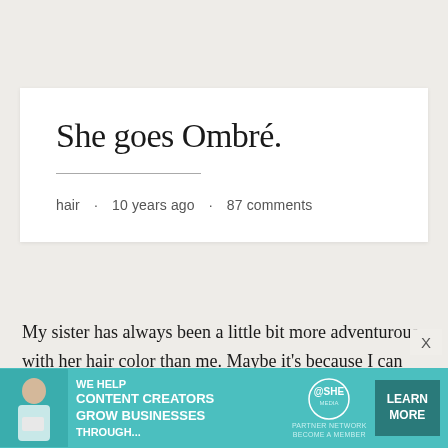She goes Ombré.
hair · 10 years ago · 87 comments
My sister has always been a little bit more adventurous with her hair color than me. Maybe it's because I can talk her into things. . .who am I kidding, the girl knows what she likes. In a sense, she's my
[Figure (other): Advertisement banner for SHE Media Partner Network with teal background, photo of a woman with laptop, text 'WE HELP CONTENT CREATORS GROW BUSINESSES THROUGH...', SHE logo, and 'LEARN MORE' button]